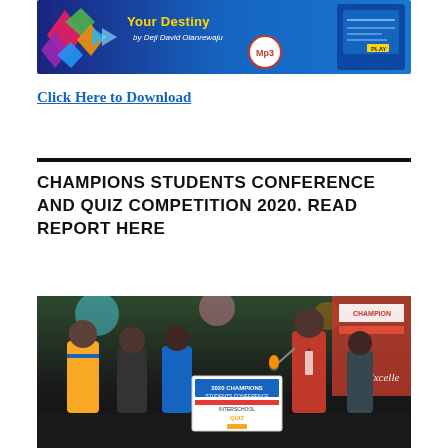[Figure (photo): Promotional banner for 'Your Destiny' Mp3 by Deji David Olanrewaju with colorful gems/crystals on the left side]
Click Here to Download
[Figure (photo): Event photo from Champions Students Conference and Quiz Competition 2020 showing students on stage with a banner/placard, a person speaking into a microphone wearing a red shirt]
CHAMPIONS STUDENTS CONFERENCE AND QUIZ COMPETITION 2020. READ REPORT HERE